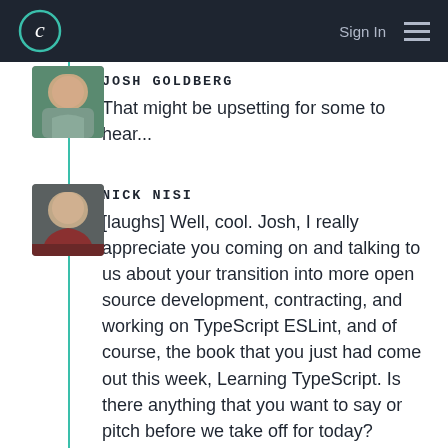C  Sign In  ☰
JOSH GOLDBERG
That might be upsetting for some to hear...
NICK NISI
[laughs] Well, cool. Josh, I really appreciate you coming on and talking to us about your transition into more open source development, contracting, and working on TypeScript ESLint, and of course, the book that you just had come out this week, Learning TypeScript. Is there anything that you want to say or pitch before we take off for today?
JOSH GOLDBERG